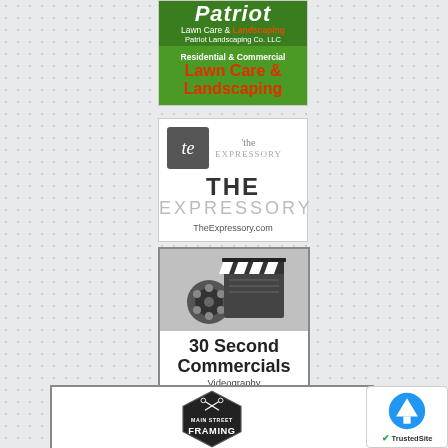[Figure (illustration): Patriot Lawn Care & Landscaping advertisement. Green background with white 'Patriot' italic text, red and white subtext 'Lawn Care & Landscaping', 'Patriot Landscaping Co. LLC', and lower green panel reading 'Residential & Commercial Lawn Care & Landscaping' in red and white.]
[Figure (illustration): The Expressory advertisement. White background with dark square logo showing 'te' and script 'the EXPRESSORY' text. Large text reads 'THE EXPRESSORY' and website 'TheExpressory.com'.]
[Figure (illustration): 30 Second Commercials advertisement. White background with movie clapperboard image and text '30 Second Commercials Videography Services'.]
[Figure (illustration): Main Street Framing advertisement. White background with black badge logo showing 'MAIN STREET FRAMING'.]
[Figure (illustration): TrustedSite badge with blue circle and up arrow, checkmark and 'TrustedSite' text.]